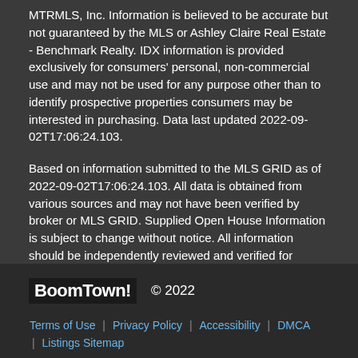MTRMLS, Inc. Information is believed to be accurate but not guaranteed by the MLS or Ashley Claire Real Estate - Benchmark Realty. IDX information is provided exclusively for consumers' personal, non-commercial use and may not be used for any purpose other than to identify prospective properties consumers may be interested in purchasing. Data last updated 2022-09-02T17:06:24.103.
Based on information submitted to the MLS GRID as of 2022-09-02T17:06:24.103. All data is obtained from various sources and may not have been verified by broker or MLS GRID. Supplied Open House Information is subject to change without notice. All information should be independently reviewed and verified for accuracy. Properties may or may not be listed by the office/agent presenting the information.
Click here for MLS GRID DMCA Notice
BoomTown! © 2022
Terms of Use | Privacy Policy | Accessibility | DMCA | Listings Sitemap